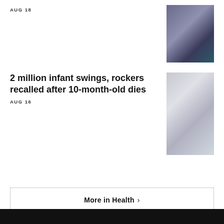AUG 18
[Figure (photo): Close-up of a medical syringe being administered to the back of a person's head, with blue gloved hands]
2 million infant swings, rockers recalled after 10-month-old dies
AUG 16
[Figure (photo): Baby swing/rocker product — a round bowl-shaped gray infant swing with colorful elements]
More in Health ›